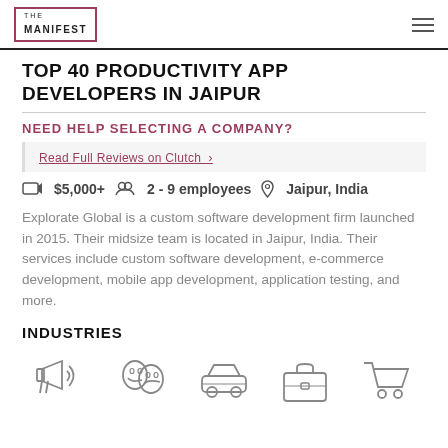THE MANIFEST
TOP 40 PRODUCTIVITY APP DEVELOPERS IN JAIPUR
NEED HELP SELECTING A COMPANY?
Read Full Reviews on Clutch ›
$5,000+   2 - 9 employees   Jaipur, India
Explorate Global is a custom software development firm launched in 2015. Their midsize team is located in Jaipur, India. Their services include custom software development, e-commerce development, mobile app development, application testing, and more.
INDUSTRIES
[Figure (illustration): Five industry icons: megaphone/advertising, theater masks/arts, car/automotive, briefcase/business, shopping cart/ecommerce]